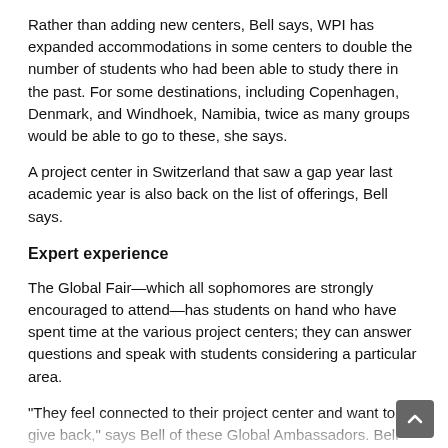Rather than adding new centers, Bell says, WPI has expanded accommodations in some centers to double the number of students who had been able to study there in the past. For some destinations, including Copenhagen, Denmark, and Windhoek, Namibia, twice as many groups would be able to go to these, she says.
A project center in Switzerland that saw a gap year last academic year is also back on the list of offerings, Bell says.
Expert experience
The Global Fair—which all sophomores are strongly encouraged to attend—has students on hand who have spent time at the various project centers; they can answer questions and speak with students considering a particular area.
"They feel connected to their project center and want to give back," says Bell of these Global Ambassadors. Bell herself has been to project centers in Ecuador, India, Greece, and Washington, D.C.
Though it's only a week into the academic year, and they may be having a lot of new information thrown at them, Bell welcomes first-year students to attend the fair, as well. A special area of the fair, the First Year Café, is set aside to help new students make connections…